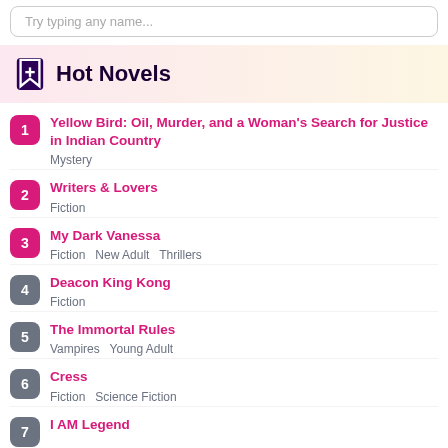Try typing any name...
Hot Novels
1. Yellow Bird: Oil, Murder, and a Woman's Search for Justice in Indian Country — Mystery
2. Writers & Lovers — Fiction
3. My Dark Vanessa — Fiction, New Adult, Thrillers
4. Deacon King Kong — Fiction
5. The Immortal Rules — Vampires, Young Adult
6. Cress — Fiction, Science Fiction
7. I AM Legend